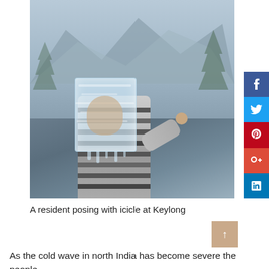[Figure (photo): A person holding a large transparent icicle/block of ice in front of their face, wearing a striped sweater, with snowy mountains in the background at Keylong.]
[Figure (infographic): Social media share buttons sidebar: Facebook (blue), Twitter (cyan), Pinterest (red), Google+ (orange-red), LinkedIn (blue)]
A resident posing with icicle at Keylong
As the cold wave in north India has become severe the people